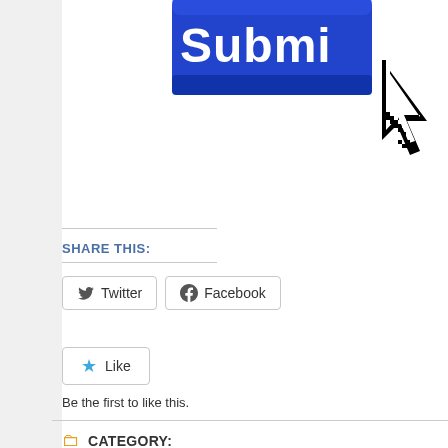[Figure (screenshot): Partial screenshot of a blue 'Submit' button with a mouse cursor pointing at it, cropped so only the bottom-right of the button and cursor are visible against a white background.]
SHARE THIS:
Twitter
Facebook
Like
Be the first to like this.
CATEGORY:
2019 PROMPTS, ACTIVISM, ART, ARTISTS, BLESS THE DA... CREATIVITY, EDITING, FICTION, FRIDAY CALL FOR SUBMIS... HEALING, LITERARY JOURNALS, LITMAGS, NONFICTION, PROMPTS, PUBLISHING, RESISTANCE, WRITING, WRI...